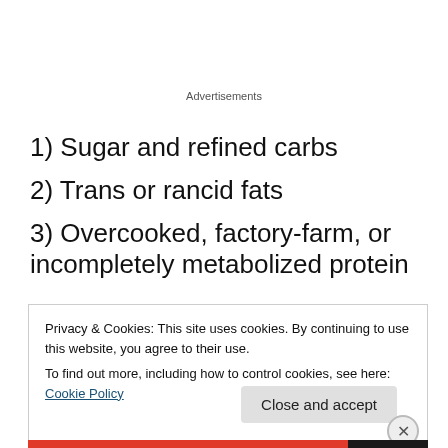Advertisements
1) Sugar and refined carbs
2) Trans or rancid fats
3) Overcooked, factory-farm, or incompletely metabolized protein
Privacy & Cookies: This site uses cookies. By continuing to use this website, you agree to their use.
To find out more, including how to control cookies, see here: Cookie Policy
Close and accept